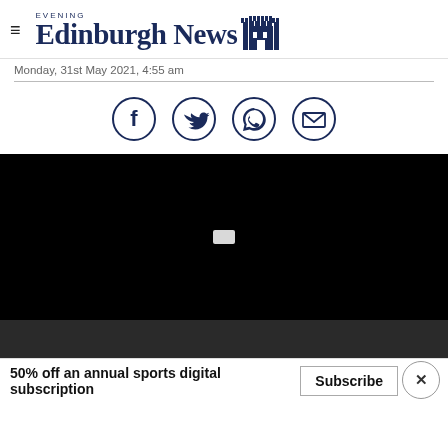Edinburgh Evening News
Monday, 31st May 2021, 4:55 am
[Figure (infographic): Social sharing icons: Facebook, Twitter, WhatsApp, Email — dark navy circle outlines]
[Figure (screenshot): Video player area — black background with white loading indicator, dark grey bottom bar]
50% off an annual sports digital subscription